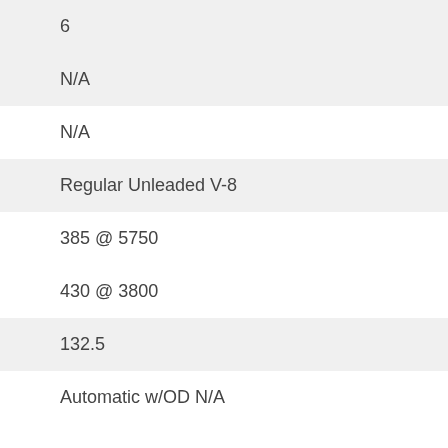| 6 |
| N/A |
| N/A |
| Regular Unleaded V-8 |
| 385 @ 5750 |
| 430 @ 3800 |
| 132.5 |
| Automatic w/OD N/A |